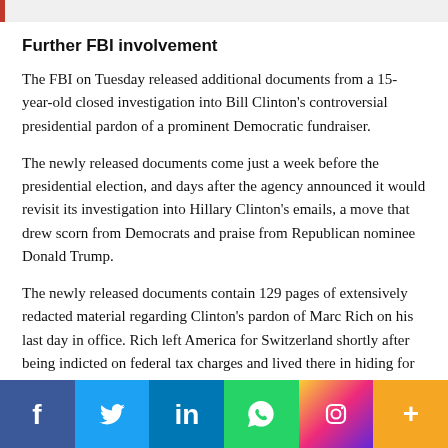Further FBI involvement
The FBI on Tuesday released additional documents from a 15-year-old closed investigation into Bill Clinton's controversial presidential pardon of a prominent Democratic fundraiser.
The newly released documents come just a week before the presidential election, and days after the agency announced it would revisit its investigation into Hillary Clinton's emails, a move that drew scorn from Democrats and praise from Republican nominee Donald Trump.
The newly released documents contain 129 pages of extensively redacted material regarding Clinton's pardon of Marc Rich on his last day in office. Rich left America for Switzerland shortly after being indicted on federal tax charges and lived there in hiding for several years. Prior to his pardon, Rich was on the FBI's Most Wanted list and at the center of
[Figure (infographic): Social media sharing buttons: Facebook (dark blue), Twitter (light blue), LinkedIn (blue), WhatsApp (green), Instagram (gradient), More/Plus (orange)]